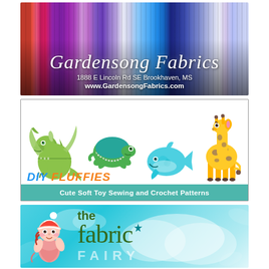[Figure (advertisement): Gardensong Fabrics advertisement with colorful fabric bolt background in reds, purples, and blues. Shows cursive/italic text 'Gardensong Fabrics', address '1888 E Lincoln Rd SE Brookhaven, MS' and URL 'www.GardensongFabrics.com']
[Figure (advertisement): DIY Fluffies advertisement showing soft toy animals: a green dragon, a teal/green turtle, a light blue whale, and a yellow giraffe. Text reads 'DIY FLUFFIES' and footer says 'Cute Soft Toy Sewing and Crochet Patterns']
[Figure (advertisement): The Fabric Fairy advertisement with light teal/aqua background with leaf patterns and cloud shapes. Shows a cartoon gnome/fairy figure wearing a red hat on left. Text reads 'the fabric' in dark green with a star, and 'FAIRY' in faded white letters below.]